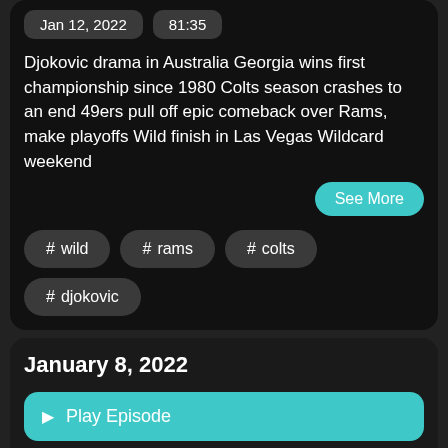Jan 12, 2022   81:35
Djokovic drama in Australia Georgia wins first championship since 1980 Colts season crashes to an end 49ers pull off epic comeback over Rams, make playoffs Wild finish in Las Vegas Wildcard weekend
See More
# wild
# rams
# colts
# djokovic
January 8, 2022
▶  Play Episode
☐  Listen Later